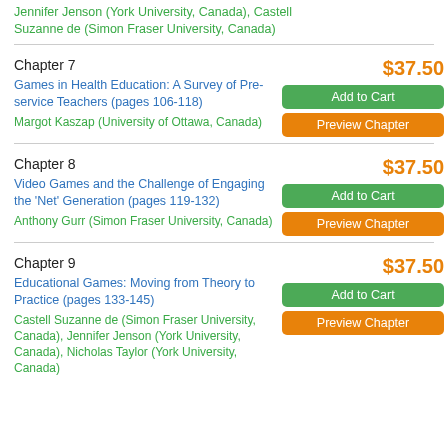Jennifer Jenson (York University, Canada), Castell Suzanne de (Simon Fraser University, Canada)
Chapter 7
$37.50
Games in Health Education: A Survey of Pre-service Teachers (pages 106-118)
Margot Kaszap (University of Ottawa, Canada)
Chapter 8
$37.50
Video Games and the Challenge of Engaging the 'Net' Generation (pages 119-132)
Anthony Gurr (Simon Fraser University, Canada)
Chapter 9
$37.50
Educational Games: Moving from Theory to Practice (pages 133-145)
Castell Suzanne de (Simon Fraser University, Canada), Jennifer Jenson (York University, Canada), Nicholas Taylor (York University, Canada)